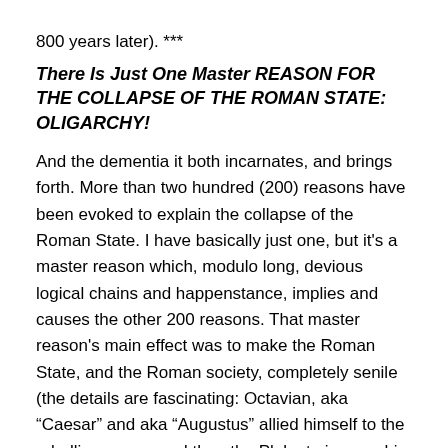800 years later).
***
There Is Just One Master REASON FOR THE COLLAPSE OF THE ROMAN STATE: OLIGARCHY!
And the dementia it both incarnates, and brings forth. More than two hundred (200) reasons have been evoked to explain the collapse of the Roman State. I have basically just one, but it's a master reason which, modulo long, devious logical chains and happenstance, implies and causes the other 200 reasons. That master reason's main effect was to make the Roman State, and the Roman society, completely senile (the details are fascinating: Octavian, aka “Caesar” and aka “Augustus” allied himself to the rebellious army, and then the Plebs to impose his tyranny over more... in the situation of another revolution